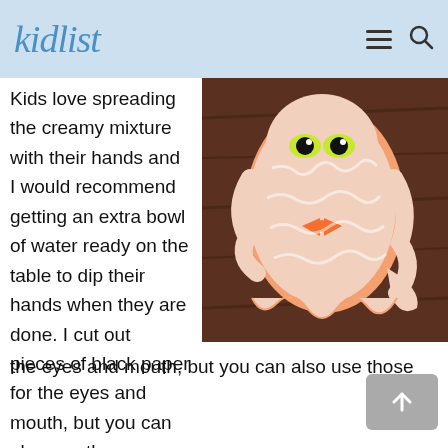kidlist
Kids love spreading the creamy mixture with their hands and I would recommend getting an extra bowl of water ready on the table to dip their hands when they are done. I cut out pieces of black paper for the eyes and mouth, but you can also use those
[Figure (photo): A child's craft ghost figure made from paper, covered with white creamy mixture spread by hand, with googly eyes and an orange bow tie, placed on a dark wooden surface.]